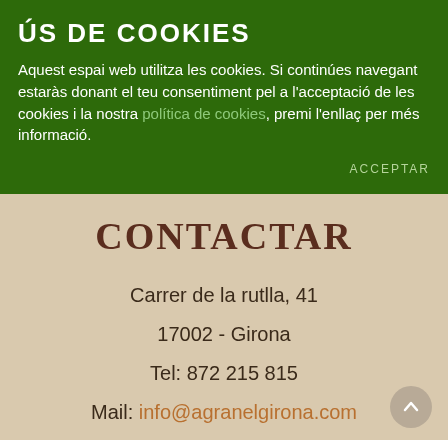ÚS DE COOKIES
Aquest espai web utilitza les cookies. Si continúes navegant estaràs donant el teu consentiment pel a l'acceptació de les cookies i la nostra política de cookies, premi l'enllaç per més informació.
ACCEPTAR
CONTACTAR
Carrer de la rutlla, 41
17002 - Girona
Tel: 872 215 815
Mail: info@agranelgirona.com